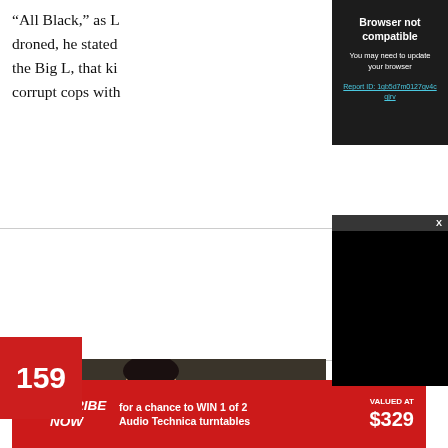“All Black,” as L… droned, he stated … the Big L, that ki… corrupt cops with…
[Figure (screenshot): Browser not compatible popup overlay with dark background. Title: 'Browser not compatible'. Subtitle: 'You may need to update your browser'. Link: 'Report ID: 1gb5d7m0127gv4cqjrv']
[Figure (screenshot): Video player popup with dark header showing 'X' close button and black video content area below]
[Figure (photo): Thumbnail image with red number badge '159' overlaid on a photo of an Asian man in a dark suit appearing to smoke or drink]
SUBSCRIBE NOW  for a chance to WIN 1 of 2 Audio Technica turntables  VALUED AT $329